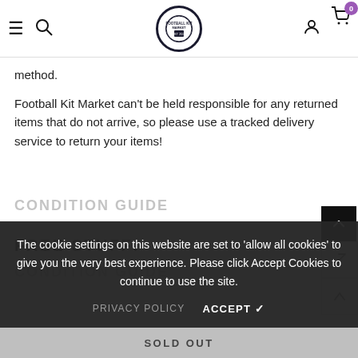Football Kit Market — navigation bar with hamburger, search, logo, account, cart (0)
method.
Football Kit Market can't be held responsible for any returned items that do not arrive, so please use a tracked delivery service to return your items!
FREE STUFF!
CONDITION GUIDE
The cookie settings on this website are set to 'allow all cookies' to give you the very best experience. Please click Accept Cookies to continue to use the site.
PRIVACY POLICY   ACCEPT ✔
SOLD OUT